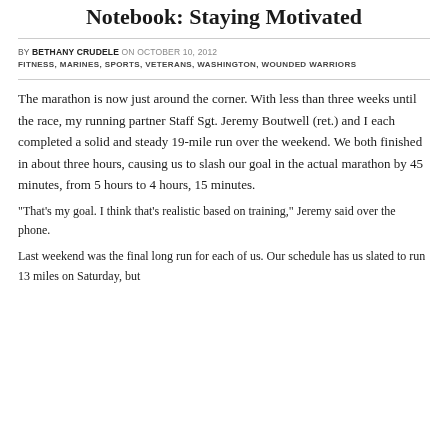Notebook: Staying Motivated
BY BETHANY CRUDELE ON OCTOBER 10, 2012
FITNESS, MARINES, SPORTS, VETERANS, WASHINGTON, WOUNDED WARRIORS
The marathon is now just around the corner. With less than three weeks until the race, my running partner Staff Sgt. Jeremy Boutwell (ret.) and I each completed a solid and steady 19-mile run over the weekend. We both finished in about three hours, causing us to slash our goal in the actual marathon by 45 minutes, from 5 hours to 4 hours, 15 minutes.
“That’s my goal. I think that’s realistic based on training,” Jeremy said over the phone.
Last weekend was the final long run for each of us. Our schedule has us slated to run 13 miles on Saturday, but